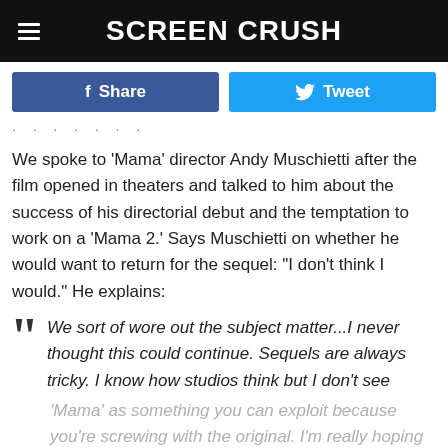Screen Crush
f Share   Tweet
· · · · · ·
We spoke to 'Mama' director Andy Muschietti after the film opened in theaters and talked to him about the success of his directorial debut and the temptation to work on a 'Mama 2.' Says Muschietti on whether he would want to return for the sequel: "I don't think I would." He explains:
" We sort of wore out the subject matter...I never thought this could continue. Sequels are always tricky. I know how studios think but I don't see 'Mama' as something you can exploit because you're screwing with the original. I'm really hoping to jump